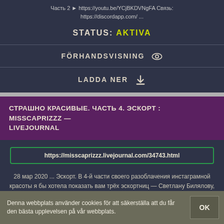Часть 2 ► https://youtu.be/YCjBKDVNgFA Связь: https://discordapp.com/ ...
STATUS: AKTIVA
FÖRHANDSVISNING
LADDA NER
СТРАШНО КРАСИВЫЕ. ЧАСТЬ 4. ЭСКОРТ : MISSCAPRIZZZ — LIVEJOURNAL
https://misscaprizzz.livejournal.com/34743.html
28 мар 2020 ... Эскорт. В 4-й части своего разоблачения инстаграмной красоты я бы хотела показать вам трёх эскортниц — Светлану Билялову, ...
STATUS: AKTIVA
Denna webbplats använder cookies för att säkerställa att du får den bästa upplevelsen på vår webbplats.